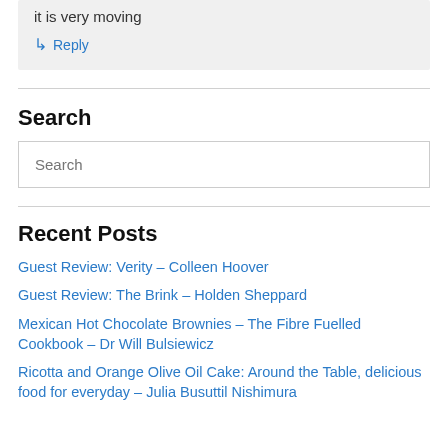it is very moving
↳ Reply
Search
Search
Recent Posts
Guest Review: Verity – Colleen Hoover
Guest Review: The Brink – Holden Sheppard
Mexican Hot Chocolate Brownies – The Fibre Fuelled Cookbook – Dr Will Bulsiewicz
Ricotta and Orange Olive Oil Cake: Around the Table, delicious food for everyday – Julia Busuttil Nishimura